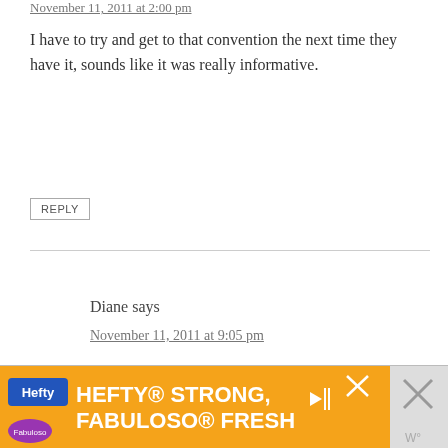November 11, 2011 at 2:00 pm
I have to try and get to that convention the next time they have it, sounds like it was really informative.
REPLY
Diane says
November 11, 2011 at 9:05 pm
I wish you would have gone, we could have met 🙂
[Figure (infographic): Hefty advertisement banner: orange background with Hefty logo and text 'HEFTY STRONG, FABULOSO FRESH'. Fabuloso brand logo visible at bottom left. Play button and close X on the right.]